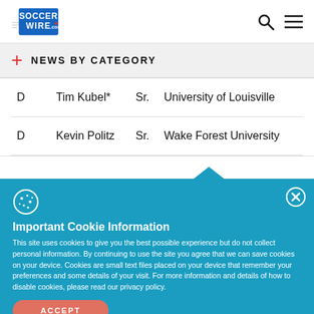SoccerWire logo with search and menu icons
NEWS BY CATEGORY
| Pos | Name | Year | School |
| --- | --- | --- | --- |
| D | Tim Kubel* | Sr. | University of Louisville |
| D | Kevin Politz | Sr. | Wake Forest University |
Important Cookie Information
This site uses cookies to give you the best possible experience but do not collect personal information. By continuing to use the site you agree that we can save cookies on your device. Cookies are small text files placed on your device that remember your preferences and some details of your visit. For more information and details of how to disable cookies, please read our privacy policy.
ACCEPT